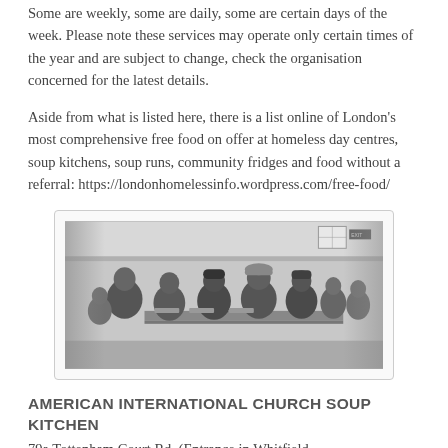Some are weekly, some are daily, some are certain days of the week. Please note these services may operate only certain times of the year and are subject to change, check the organisation concerned for the latest details.
Aside from what is listed here, there is a list online of London's most comprehensive free food on offer at homeless day centres, soup kitchens, soup runs, community fridges and food without a referral: https://londonhomelessinfo.wordpress.com/free-food/
[Figure (photo): Black and white photograph of people seated at tables in a soup kitchen, being served food.]
AMERICAN INTERNATIONAL CHURCH SOUP KITCHEN
79a Tottenham Court Rd, (Entrance in Whitfield